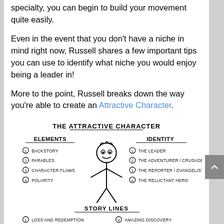specialty, you can begin to build your movement quite easily.
Even in the event that you don't have a niche in mind right now, Russell shares a few important tips you can use to identify what niche you would enjoy being a leader in!
More to the point, Russell breaks down the way you're able to create an Attractive Character.
[Figure (infographic): Hand-drawn infographic titled 'THE ATTRACTIVE CHARACTER' showing a stick figure person in the center. Left side labeled 'ELEMENTS' lists: 1 BACKSTORY, 2 PARABLES, 3 CHARACTER FLAWS, 4 POLARITY. Right side labeled 'IDENTITY' lists: 1 THE LEADER, 2 THE ADVENTURER/CRUSADER, 3 THE REPORTER/EVANGELIST, 4 THE RELUCTANT HERO. Bottom section labeled 'STORY LINES' with 1 LOSS AND REDEMPTION and 4 AMAZING DISCOVERY visible.]